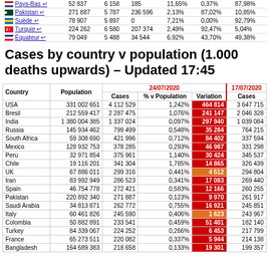| Country | Cases | Deaths | Recovered | Death% | Recovery% | Active% |
| --- | --- | --- | --- | --- | --- | --- |
| Pays-Bas | 52 837 | 6 158 | 185 | 11,65% | 0,37% | 87,98% |
| Pakistan | 271 887 | 5 787 | 236 596 | 2,13% | 87,02% | 10,85% |
| Suède | 78 907 | 5 897 | 0 | 7,21% | 0,00% | 92,79% |
| Turquie | 224 252 | 6 580 | 207 374 | 2,49% | 92,47% | 5,04% |
| Équateur | 79 049 | 5 488 | 34 544 | 6,92% | 43,70% | 49,38% |
Cases by country v population (1.000 deaths upwards) – Updated 17:45
| Country | Population | Cases (24/07/2020) | % v Population | Variation | Cases (17/07/2020) |
| --- | --- | --- | --- | --- | --- |
| USA | 331 002 651 | 4 112 529 | 1,242% | 464 814 | 3 647 715 |
| Bresil | 212 559 417 | 2 287 475 | 1,076% | 241 147 | 2 046 328 |
| India | 1 380 004 385 | 1 337 024 | 0,097% | 297 940 | 1 039 084 |
| Russia | 145 934 462 | 799 499 | 0,548% | 35 284 | 764 215 |
| South Africa | 59 308 690 | 421 996 | 0,712% | 84 402 | 337 594 |
| Mexico | 128 932 753 | 378 285 | 0,293% | 46 987 | 331 298 |
| Peru | 32 971 854 | 375 961 | 1,140% | 30 424 | 345 537 |
| Chile | 19 116 201 | 341 304 | 1,785% | 14 865 | 326 439 |
| UK | 67 886 011 | 299 316 | 0,441% | 4 512 | 294 804 |
| Iran | 83 992 949 | 286 523 | 0,341% | 17 083 | 269 440 |
| Spain | 46 754 778 | 272 421 | 0,583% | 12 166 | 260 255 |
| Pakistan | 220 892 340 | 271 887 | 0,123% | 9 970 | 261 917 |
| Saudi Arabia | 34 813 871 | 262 772 | 0,755% | 16 921 | 245 851 |
| Italy | 60 461 826 | 245 590 | 0,406% | 1 623 | 243 967 |
| Colombia | 50 882 891 | 233 541 | 0,459% | 51 401 | 182 140 |
| Turkey | 84 339 067 | 224 252 | 0,266% | 6 453 | 217 799 |
| France | 65 273 511 | 220 082 | 0,337% | 5 944 | 214 138 |
| Bangladesh | 164 689 383 | 218 658 | 0,133% | 19 301 | 199 357 |